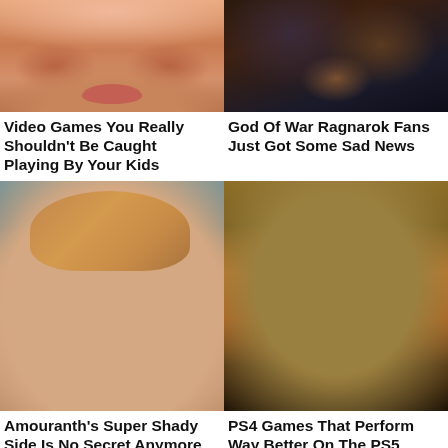[Figure (photo): Close-up of a woman's face, cropped near mouth, with tan/warm skin tones]
[Figure (photo): God of War Ragnarok game character with dark armor and dramatic lighting]
Video Games You Really Shouldn't Be Caught Playing By Your Kids
God Of War Ragnarok Fans Just Got Some Sad News
[Figure (photo): Young woman with long brown hair and green eyes, neutral expression]
[Figure (photo): Monstrous armored character with yellow-green helmet and decayed teeth, game art]
Amouranth's Super Shady Side Is No Secret Anymore
PS4 Games That Perform Way Better On The PS5